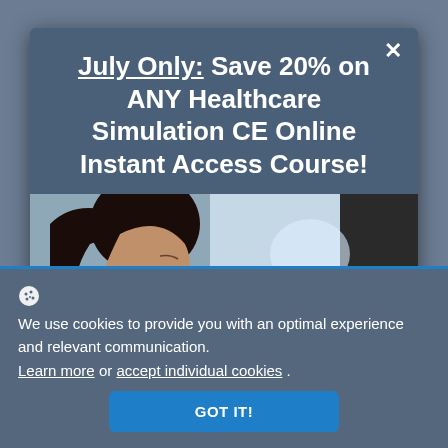July Only: Save 20% on ANY Healthcare Simulation CE Online Instant Access Course!
[Figure (photo): Side profile of a woman with dark hair in a medical/office environment with blurred background]
We use cookies to provide you with an optimal experience and relevant communication.
Learn more or accept individual cookies .
GOT IT!